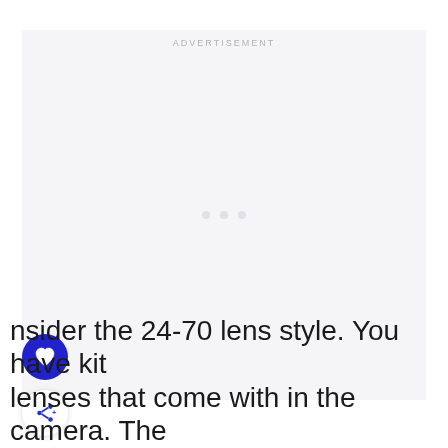[Figure (other): Advertisement placeholder box with light gray background and three dots in center, with ADVERTISEMENT label at top]
[Figure (other): Blue circular heart/favorite button]
[Figure (other): White circular share button with blue share icon]
nsider the 24-70 lens style. You have kit lenses that come with in the camera. The